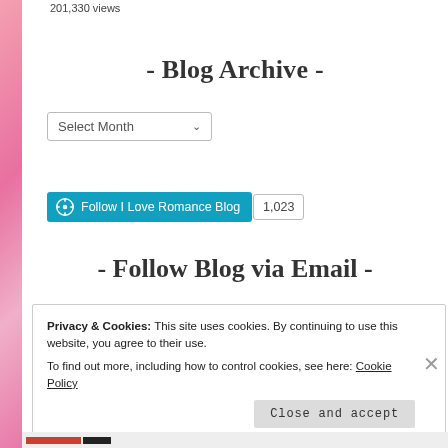201,330 views
- Blog Archive -
Select Month
Follow I Love Romance Blog  1,023
- Follow Blog via Email -
Privacy & Cookies: This site uses cookies. By continuing to use this website, you agree to their use.
To find out more, including how to control cookies, see here: Cookie Policy
Close and accept